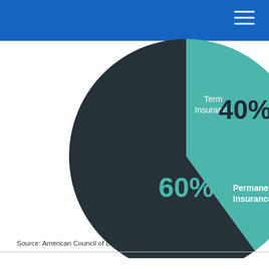[Figure (pie-chart): ]
Source: American Council of Life Insurers, 2018